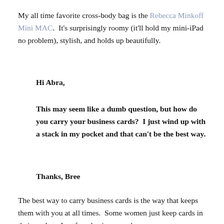My all time favorite cross-body bag is the Rebecca Minkoff Mini MAC.  It's surprisingly roomy (it'll hold my mini-iPad no problem), stylish, and holds up beautifully.
Hi Abra,
This may seem like a dumb question, but how do you carry your business cards?  I just wind up with a stack in my pocket and that can't be the best way.
Thanks, Bree
The best way to carry business cards is the way that keeps them with you at all times.  Some women just keep cards in their pocket.  I prefer a business card case.